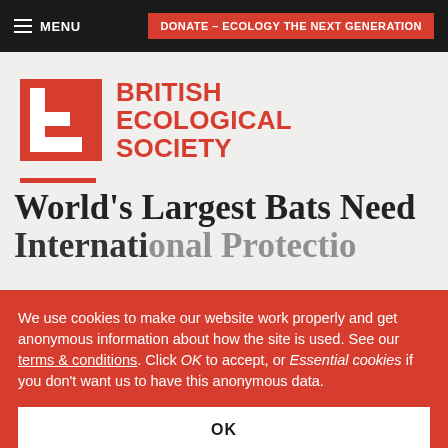MENU | DONATE – ECOLOGY THE NEXT GENERATION
[Figure (logo): British Ecological Society logo — red stylized E letterform icon beside bold red text reading BRITISH ECOLOGICAL SOCIETY]
World's Largest Bats Need International Protectio...
We use cookies to make our website work properly and get anonymous information about how the site is used. See our terms & conditions. Click OK to accept, or Essential cookies if you don't want us to have this anonymous data.
OK
Essential cookies